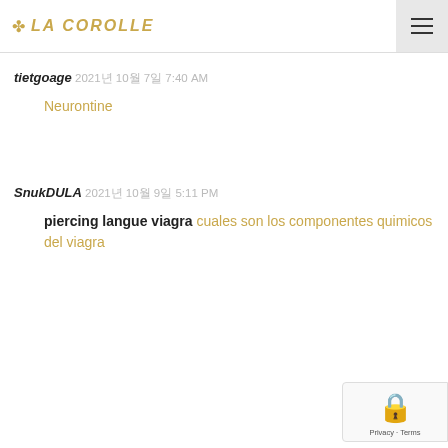LA COROLLE
tietgoage 2021년 10월 7일 7:40 AM
Neurontine
SnukDULA 2021년 10월 9일 5:11 PM
piercing langue viagra cuales son los componentes quimicos del viagra